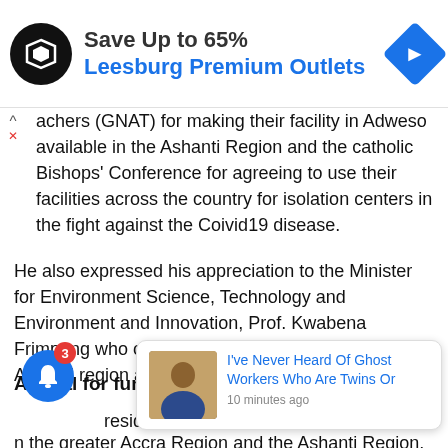[Figure (infographic): Advertisement banner: Simon Premium Outlets logo (black circle with diamond shape), text 'Save Up to 65% Leesburg Premium Outlets' in bold with blue outlet name, blue arrow diamond shape on right]
achers (GNAT) for making their facility in Adweso available in the Ashanti Region and the catholic Bishops' Conference for agreeing to use their facilities across the country for isolation centers in the fight against the Coivid19 disease.
He also expressed his appreciation to the Minister for Environment Science, Technology and Environment and Innovation, Prof. Kwabena Frimpong who offered a seventy bed hospital in the Ashanti region as a Covid19 treatment center.
Appeal for fun
resident m
n the greater Accra Region and the Ashanti Region, he
[Figure (photo): Notification popup with photo of smiling man in suit, headline 'I've Never Heard Of Ghost Workers Who Are Twins Or', timestamp '10 minutes ago']